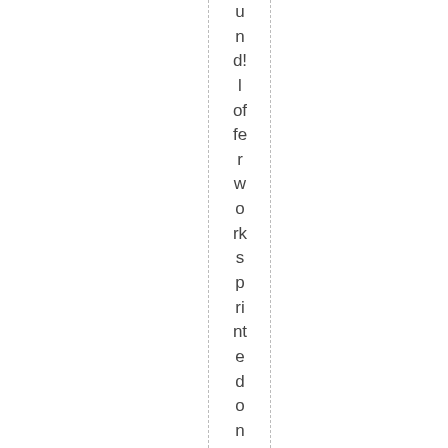und!l offer works printed on fine art pa n